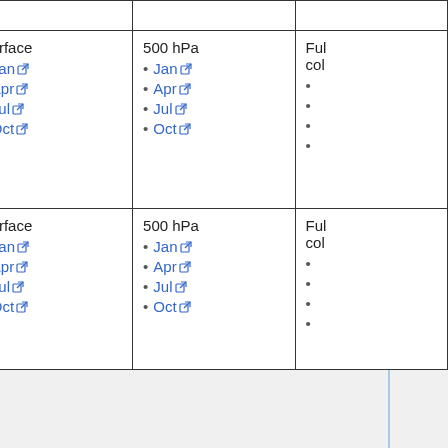| Species | Surface | 500 hPa | Full col |
| --- | --- | --- | --- |
| NPRNO3 |  |  |  |
| Primary Organics
EOH, MOH, ISOP, MTPA, MTPO, LIMO, ALK4, BENZ, CH4, C2H6, C3H8, PRPE, TOLU, XYLE | Surface
• Jan
• Apr
• Jul
• Oct | 500 hPa
• Jan
• Apr
• Jul
• Oct | Full col
•
•
•
• |
| Secondary Organics
ACTA, ALD2, CH2O, HPALDs, MACR, IEPOX, ACET, MEK, MVK, | Surface
• Jan
• Apr
• Jul
• Oct | 500 hPa
• Jan
• Apr
• Jul
• Oct | Full col
•
•
•
• |